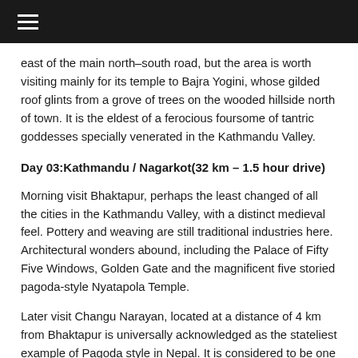≡
east of the main north–south road, but the area is worth visiting mainly for its temple to Bajra Yogini, whose gilded roof glints from a grove of trees on the wooded hillside north of town. It is the eldest of a ferocious foursome of tantric goddesses specially venerated in the Kathmandu Valley.
Day 03:Kathmandu / Nagarkot(32 km – 1.5 hour drive)
Morning visit Bhaktapur, perhaps the least changed of all the cities in the Kathmandu Valley, with a distinct medieval feel. Pottery and weaving are still traditional industries here. Architectural wonders abound, including the Palace of Fifty Five Windows, Golden Gate and the magnificent five storied pagoda-style Nyatapola Temple.
Later visit Changu Narayan, located at a distance of 4 km from Bhaktapur is universally acknowledged as the stateliest example of Pagoda style in Nepal. It is considered to be one of the greatest